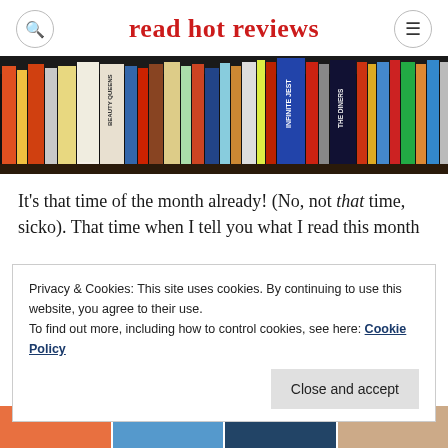read hot reviews
[Figure (photo): A bookshelf packed with colorful book spines including titles like Beauty Queens, Infinite Jest, The Diners, and others.]
It's that time of the month already! (No, not that time, sicko). That time when I tell you what I read this month and how many stars I'd give them on a scale of f
Privacy & Cookies: This site uses cookies. By continuing to use this website, you agree to their use.
To find out more, including how to control cookies, see here: Cookie Policy
Close and accept
[Figure (photo): Four small book cover thumbnail images at the bottom of the page.]